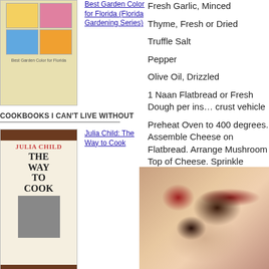[Figure (photo): Book cover: Best Garden Color for Florida (Florida Gardening Series)]
Best Garden Color for Florida (Florida Gardening Series)
COOKBOOKS I CAN'T LIVE WITHOUT
[Figure (photo): Book cover: Julia Child The Way to Cook]
Julia Child: The Way to Cook
Craig Claiborne: The New York Times Cookbook
(*****)
[Figure (photo): Book cover: The Barefoot Contessa Cookbook]
Ina Garten: The Barefoot Contessa Cookbook
Fresh Garlic, Minced
Thyme, Fresh or Dried
Truffle Salt
Pepper
Olive Oil, Drizzled
1 Naan Flatbread or Fresh Dough per ins... crust vehicle
Preheat Oven to 400 degrees. Assemble Cheese on Flatbread. Arrange Mushroom Top of Cheese. Sprinkle Garlic, Salt & Pe... in Oven until cheese is puffed
[Figure (photo): Food photo showing flatbread/pizza with dark toppings]